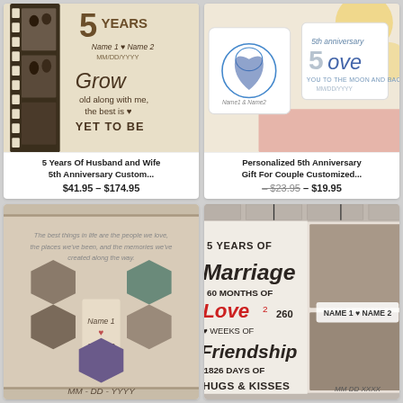[Figure (photo): 5 Years of Husband and Wife anniversary custom canvas with film strip and couple photos, text 'Grow old along with me, the best is YET TO BE']
5 Years Of Husband and Wife 5th Anniversary Custom...
$41.95 – $174.95
[Figure (photo): Personalized 5th anniversary gift mugs for couple with fingerprint heart and 'Love You To The Moon And Back']
Personalized 5th Anniversary Gift For Couple Customized...
– $23.95 – $19.95
[Figure (photo): Hexagon photo collage canvas with couple photos, Name 1, Name 2 placeholders on rustic wood background]
[Figure (photo): 5 Years of Marriage canvas: 60 Months of Love, 260 Weeks of Friendship, 1826 Days of Hugs & Kisses with couple photos]